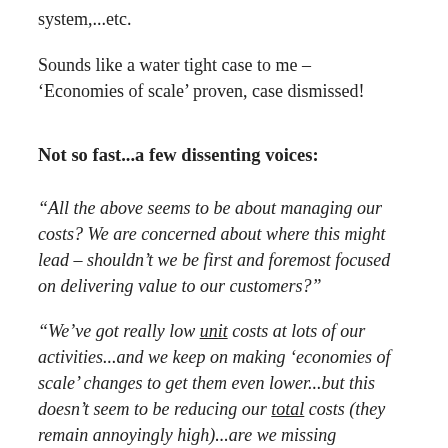system,...etc.
Sounds like a water tight case to me – 'Economies of scale' proven, case dismissed!
Not so fast...a few dissenting voices:
“All the above seems to be about managing our costs? We are concerned about where this might lead – shouldn’t we be first and foremost focused on delivering value to our customers?”
“We’ve got really low unit costs at lots of our activities...and we keep on making ‘economies of scale’ changes to get them even lower...but this doesn’t seem to be reducing our total costs (they remain annoyingly high)...are we missing something?”